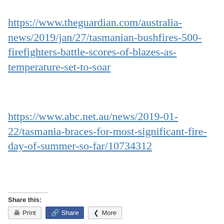https://www.theguardian.com/australia-news/2019/jan/27/tasmanian-bushfires-500-firefighters-battle-scores-of-blazes-as-temperature-set-to-soar
https://www.abc.net.au/news/2019-01-22/tasmania-braces-for-most-significant-fire-day-of-summer-so-far/10734312
Share this:
[Figure (other): Share buttons: Print, Share, More]